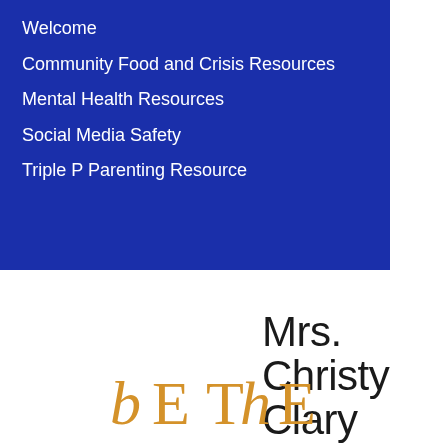Welcome
Community Food and Crisis Resources
Mental Health Resources
Social Media Safety
Triple P Parenting Resource
Mrs. Christy Clary
I am the School Social Worker for Mt. Pleasant Middle
[Figure (illustration): Handwritten orange text reading 'bE ThE' in a casual hand-lettered style]